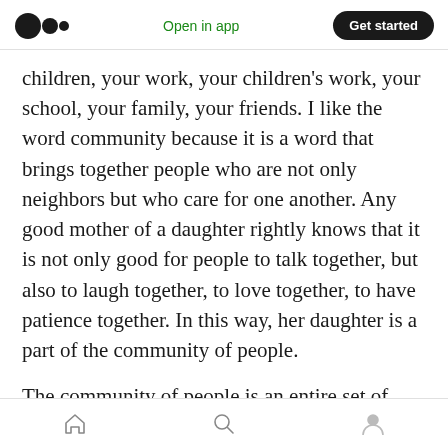Medium logo | Open in app | Get started
children, your work, your children’s work, your school, your family, your friends. I like the word community because it is a word that brings together people who are not only neighbors but who care for one another. Any good mother of a daughter rightly knows that it is not only good for people to talk together, but also to laugh together, to love together, to have patience together. In this way, her daughter is a part of the community of people.
The community of people is an entire set of members who work together in the shared task
Home | Search | Profile